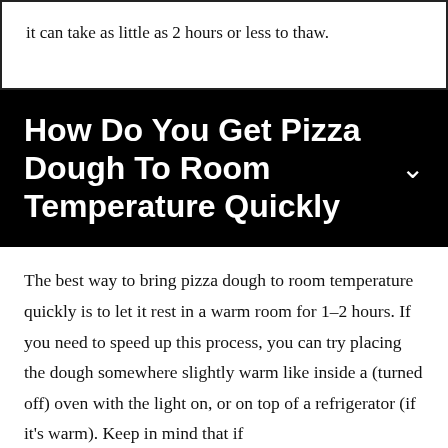it can take as little as 2 hours or less to thaw.
How Do You Get Pizza Dough To Room Temperature Quickly
The best way to bring pizza dough to room temperature quickly is to let it rest in a warm room for 1–2 hours. If you need to speed up this process, you can try placing the dough somewhere slightly warm like inside a (turned off) oven with the light on, or on top of a refrigerator (if it's warm). Keep in mind that if